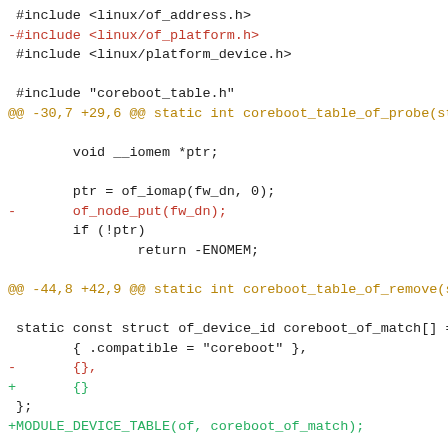Code diff showing changes to coreboot_table driver including removal of linux/of_platform.h include, of_node_put call, trailing comma fix in of_device_id array, addition of MODULE_DEVICE_TABLE macro, and platform_driver struct definition.